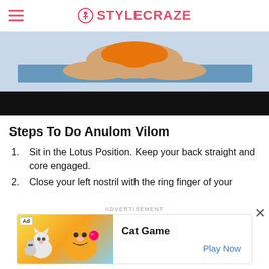STYLECRAZE
[Figure (photo): Person sitting in lotus yoga position on a blue mat, wearing orange top, lower body visible. Bottom portion has a black bar overlay.]
Steps To Do Anulom Vilom
Sit in the Lotus Position. Keep your back straight and core engaged.
Close your left nostril with the ring finger of your
ADVERTISEMENT
[Figure (screenshot): Advertisement banner for 'Cat Game' mobile app. Shows cartoon cats on colorful background. Has 'Ad' badge, 'Cat Game' title, and 'Play Now' call-to-action button.]